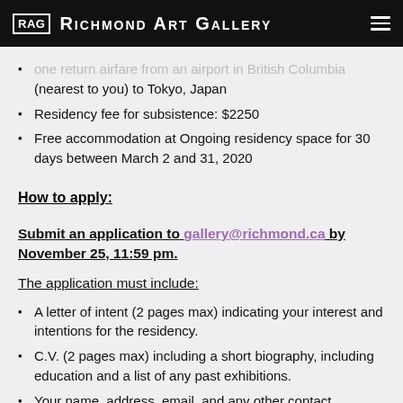RAG RICHMOND ART GALLERY
one return airfare from an airport in British Columbia (nearest to you) to Tokyo, Japan
Residency fee for subsistence: $2250
Free accommodation at Ongoing residency space for 30 days between March 2 and 31, 2020
How to apply:
Submit an application to gallery@richmond.ca by November 25, 11:59 pm.
The application must include:
A letter of intent (2 pages max) indicating your interest and intentions for the residency.
C.V. (2 pages max) including a short biography, including education and a list of any past exhibitions.
Your name, address, email, and any other contact